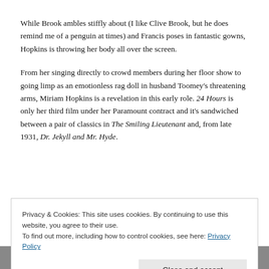While Brook ambles stiffly about (I like Clive Brook, but he does remind me of a penguin at times) and Francis poses in fantastic gowns, Hopkins is throwing her body all over the screen.
From her singing directly to crowd members during her floor show to going limp as an emotionless rag doll in husband Toomey's threatening arms, Miriam Hopkins is a revelation in this early role. 24 Hours is only her third film under her Paramount contract and it's sandwiched between a pair of classics in The Smiling Lieutenant and, from late 1931, Dr. Jekyll and Mr. Hyde.
Privacy & Cookies: This site uses cookies. By continuing to use this website, you agree to their use.
To find out more, including how to control cookies, see here: Privacy Policy
Close and accept
[Figure (photo): Bottom strip of a black and white photograph, partially visible]